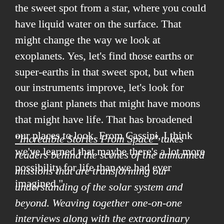the sweet spot from a star, where you could have liquid water on the surface. That might change the way we look at exoplanets. Yes, let's find those earths or super-earths in that sweet spot, but when our instruments improve, let's look for those giant planets that might have moons that might have life. That has broadened our places to look. From Cassini, I think we've learned that maybe there's a lot more possibility for life than we had ever imagined."
"Incredible Stories From Space" takes readers behind the scenes of the unmanned missions that are transforming our understanding of the solar system and beyond. Weaving together one-on-one interviews along with the extraordinary sagas of the spacecraft themselves, this book chronicles the struggles and triumphs of nine current space missions and captures